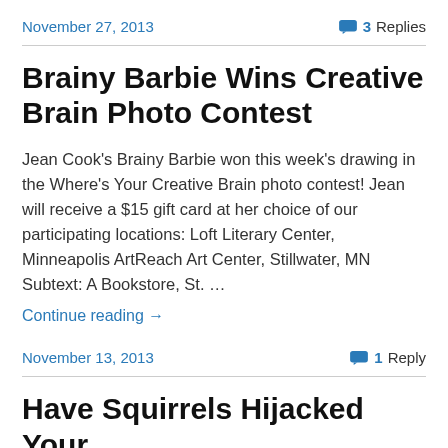November 27, 2013    3 Replies
Brainy Barbie Wins Creative Brain Photo Contest
Jean Cook's Brainy Barbie won this week's drawing in the Where's Your Creative Brain photo contest! Jean will receive a $15 gift card at her choice of our participating locations: Loft Literary Center, Minneapolis ArtReach Art Center, Stillwater, MN Subtext: A Bookstore, St. …
Continue reading →
November 13, 2013    1 Reply
Have Squirrels Hijacked Your